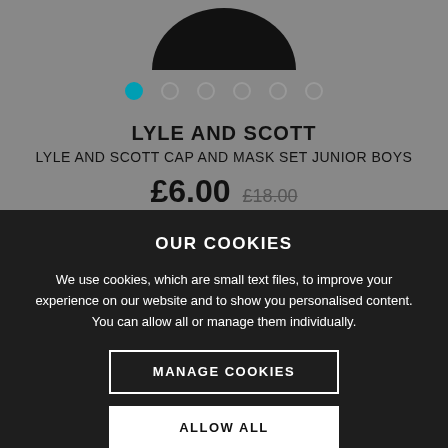[Figure (screenshot): Product image of a black cap/mask at the top of the page, partially visible, on a grey background]
● ○ ○ ○ ○ ○
LYLE AND SCOTT
LYLE AND SCOTT CAP AND MASK SET JUNIOR BOYS
£6.00  £18.00
OUR COOKIES
We use cookies, which are small text files, to improve your experience on our website and to show you personalised content. You can allow all or manage them individually.
MANAGE COOKIES
ALLOW ALL